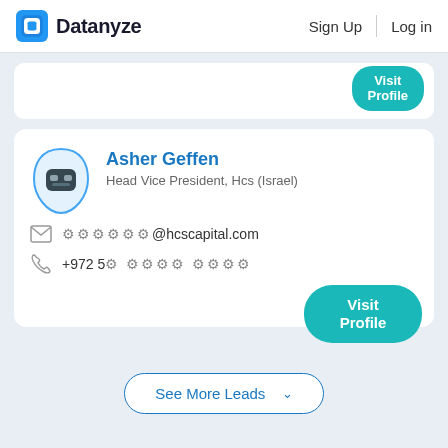Datanyze  Sign Up  Log in
[Figure (screenshot): Partial profile card with Visit Profile button (teal) partially visible at top]
Asher Geffen
Head Vice President, Hcs (Israel)
✉ ••••••@hcscapital.com
📞 +972 5• •••• ••••
Visit Profile
See More Leads ∨